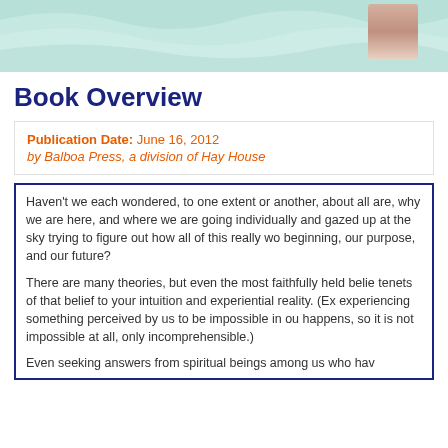[Figure (photo): Website header banner with mint/teal wave design and a photo of a woman with dark hair on the right side]
Book Overview
Publication Date: June 16, 2012
by Balboa Press, a division of Hay House
Haven't we each wondered, to one extent or another, about all are, why we are here, and where we are going individually and gazed up at the sky trying to figure out how all of this really wo beginning, our purpose, and our future?

There are many theories, but even the most faithfully held belie tenets of that belief to your intuition and experiential reality. (Ex experiencing something perceived by us to be impossible in ou happens, so it is not impossible at all, only incomprehensible.)

Even seeking answers from spiritual beings among us who hav